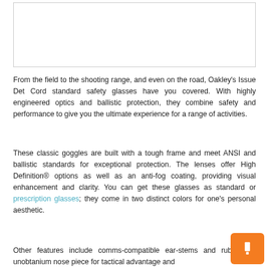[Figure (photo): Product image placeholder – white rectangle with border, likely showing Oakley Issue Det Cord safety glasses]
From the field to the shooting range, and even on the road, Oakley's Issue Det Cord standard safety glasses have you covered. With highly engineered optics and ballistic protection, they combine safety and performance to give you the ultimate experience for a range of activities.
These classic goggles are built with a tough frame and meet ANSI and ballistic standards for exceptional protection. The lenses offer High Definition® options as well as an anti-fog coating, providing visual enhancement and clarity. You can get these glasses as standard or prescription glasses; they come in two distinct colors for one's personal aesthetic.
Other features include comms-compatible ear-stems and rubberized unobtanium nose piece for tactical advantage and